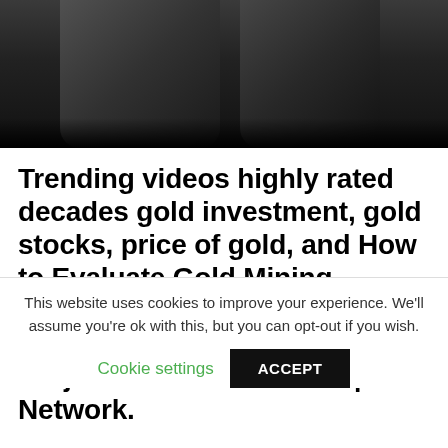[Figure (photo): Dark background photo showing people in suits, partially visible at top of page]
Trending videos highly rated decades gold investment, gold stocks, price of gold, and How to Evaluate Gold Mining Stocks, Junior Mining: How to Evaluate Early Stage Mineral Projects with Brent Cook | SNN Network.
In this Wall Street View, our host caught
This website uses cookies to improve your experience. We'll assume you're ok with this, but you can opt-out if you wish.
Cookie settings   ACCEPT